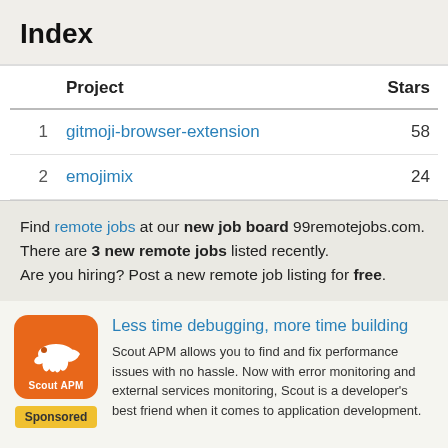Index
|  | Project | Stars |
| --- | --- | --- |
| 1 | gitmoji-browser-extension | 58 |
| 2 | emojimix | 24 |
Find remote jobs at our new job board 99remotejobs.com. There are 3 new remote jobs listed recently. Are you hiring? Post a new remote job listing for free.
[Figure (logo): Scout APM orange logo with white running dog icon and 'Scout APM' text]
Less time debugging, more time building. Scout APM allows you to find and fix performance issues with no hassle. Now with error monitoring and external services monitoring, Scout is a developer's best friend when it comes to application development.